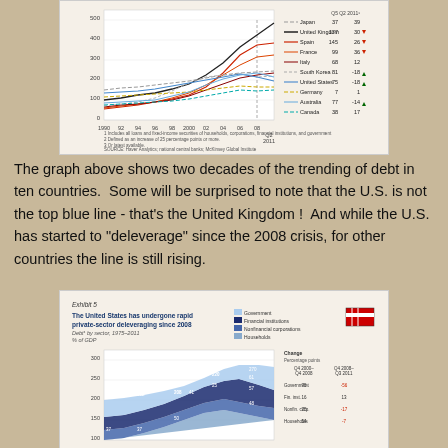[Figure (line-chart): Line chart showing total debt as percentage of GDP for ten countries (Japan, United Kingdom, Spain, France, Italy, South Korea, United States, Germany, Australia, Canada) from 1990 to Q2 2011. United Kingdom is the highest line near 500%, US shows deleveraging after 2008.]
The graph above shows two decades of the trending of debt in ten countries.  Some will be surprised to note that the U.S. is not the top blue line - that's the United Kingdom !  And while the U.S. has started to "deleverage" since the 2008 crisis, for other countries the line is still rising.
[Figure (area-chart): Stacked area chart showing US debt by sector (Government, Financial institutions, Nonfinancial corporations, Households) as % of GDP from 1975 to 2011. Shows rapid private-sector deleveraging since 2008.]